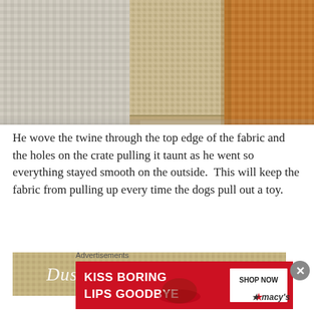[Figure (photo): Close-up photograph of burlap/woven fabric material, showing texture and a folded edge, in beige/tan and orange-brown tones on a light woven background]
He wove the twine through the top edge of the fabric and the holes on the crate pulling it taunt as he went so everything stayed smooth on the outside.  This will keep the fabric from pulling up every time the dogs pull out a toy.
[Figure (photo): Photo of fabric/burlap with cursive text overlay reading 'Dust Bunnies & Dog Toys']
Advertisements
[Figure (infographic): Advertisement banner: 'KISS BORING LIPS GOODBYE' with a woman's face and red lips, with 'SHOP NOW' and Macy's star logo on the right side, red background]